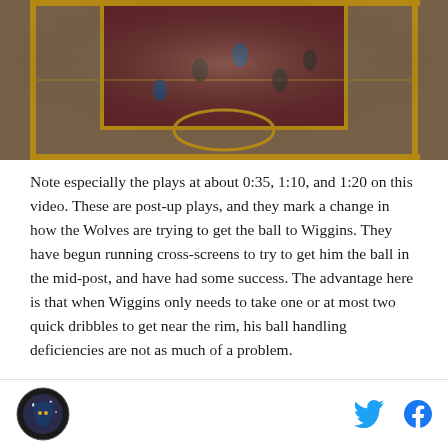[Figure (photo): Basketball court aerial view showing players on a hardwood court with yellow/gold and dark red/maroon coloring, likely a Minnesota Timberwolves or Cleveland Cavaliers game]
Note especially the plays at about 0:35, 1:10, and 1:20 on this video. These are post-up plays, and they mark a change in how the Wolves are trying to get the ball to Wiggins. They have begun running cross-screens to try to get him the ball in the mid-post, and have had some success. The advantage here is that when Wiggins only needs to take one or at most two quick dribbles to get near the rim, his ball handling deficiencies are not as much of a problem.
Here, against Sacramento, he was able to do this
Timberwolves logo, Twitter icon, Facebook icon